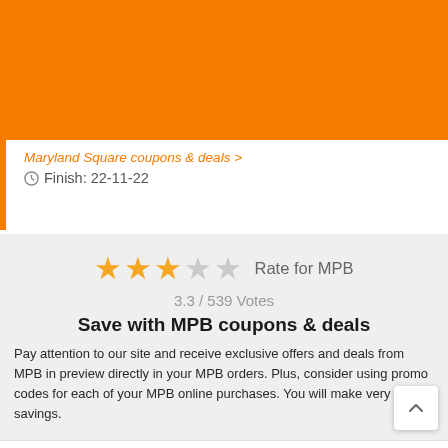(orange header bar)
Maryland Square coupons & deals >
Finish: 22-11-22
[Figure (other): 3-star rating out of 5 stars filled in orange, with label 'Rate for MPB' and vote count '3.3 / 539 Votes']
Save with MPB coupons & deals
Pay attention to our site and receive exclusive offers and deals from MPB in preview directly in your MPB orders. Plus, consider using promo codes for each of your MPB online purchases. You will make very good savings.
All MPB coupons and discounts
Total 22
Codes 9
Deals 13